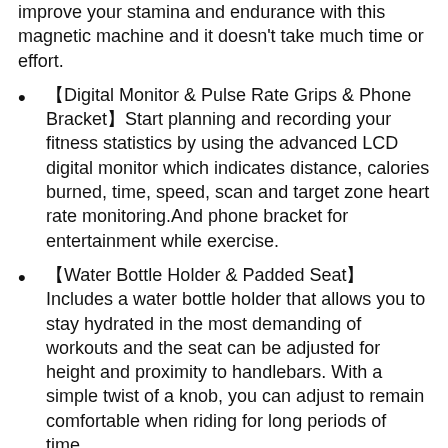improve your stamina and endurance with this magnetic machine and it doesn't take much time or effort.
【Digital Monitor & Pulse Rate Grips & Phone Bracket】Start planning and recording your fitness statistics by using the advanced LCD digital monitor which indicates distance, calories burned, time, speed, scan and target zone heart rate monitoring.And phone bracket for entertainment while exercise.
【Water Bottle Holder & Padded Seat】Includes a water bottle holder that allows you to stay hydrated in the most demanding of workouts and the seat can be adjusted for height and proximity to handlebars. With a simple twist of a knob, you can adjust to remain comfortable when riding for long periods of time.
【Hassle-free Warranty】 US Stock, back up with 30